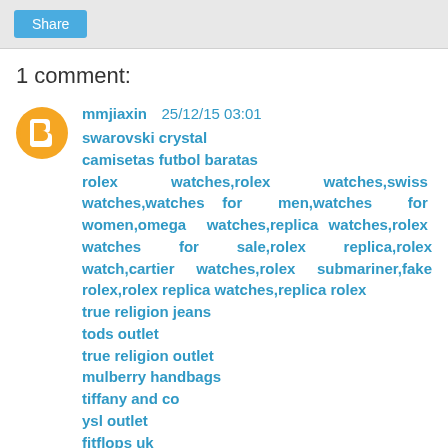Share
1 comment:
mmjiaxin  25/12/15 03:01
swarovski crystal
camisetas futbol baratas
rolex watches,rolex watches,swiss watches,watches for men,watches for women,omega watches,replica watches,rolex watches for sale,rolex replica,rolex watch,cartier watches,rolex submariner,fake rolex,rolex replica watches,replica rolex
true religion jeans
tods outlet
true religion outlet
mulberry handbags
tiffany and co
ysl outlet
fitflops uk
michael kors canada
burberry outlet online